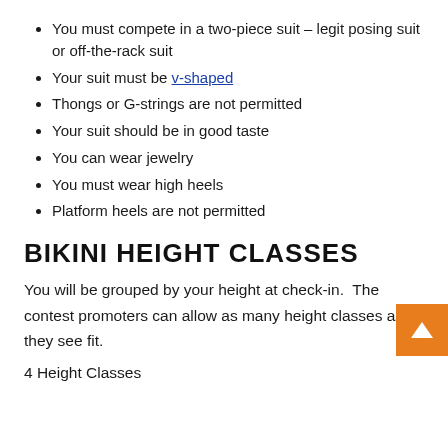You must compete in a two-piece suit – legit posing suit or off-the-rack suit
Your suit must be v-shaped
Thongs or G-strings are not permitted
Your suit should be in good taste
You can wear jewelry
You must wear high heels
Platform heels are not permitted
BIKINI HEIGHT CLASSES
You will be grouped by your height at check-in.  The contest promoters can allow as many height classes as they see fit.
4 Height Classes